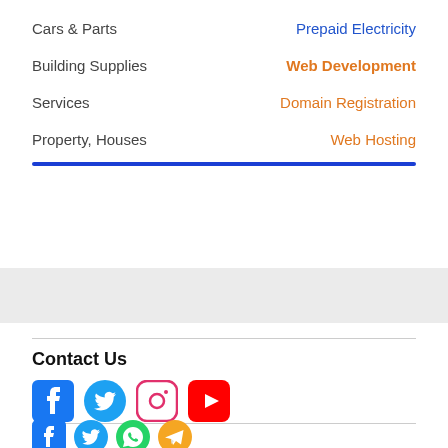Cars & Parts | Prepaid Electricity
Building Supplies | Web Development
Services | Domain Registration
Property, Houses | Web Hosting
Contact Us
[Figure (infographic): Social media icons: Facebook, Twitter, Instagram, YouTube]
[Figure (infographic): Social media icons: Facebook, Twitter, WhatsApp, Telegram]